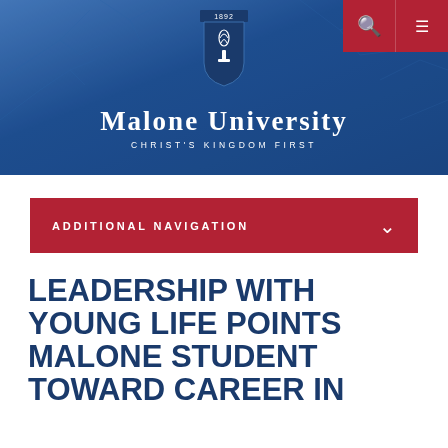[Figure (logo): Malone University header banner with blue background and tree silhouette texture, university shield logo, name 'Malone University' and tagline 'Christ's Kingdom First']
ADDITIONAL NAVIGATION
LEADERSHIP WITH YOUNG LIFE POINTS MALONE STUDENT TOWARD CAREER IN